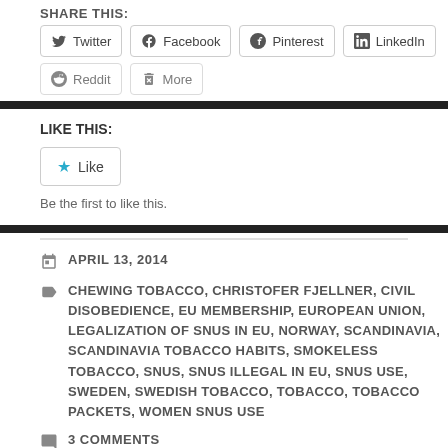SHARE THIS:
Twitter | Facebook | Pinterest | LinkedIn | Reddit | More
LIKE THIS:
Like
Be the first to like this.
APRIL 13, 2014
CHEWING TOBACCO, CHRISTOFER FJELLNER, CIVIL DISOBEDIENCE, EU MEMBERSHIP, EUROPEAN UNION, LEGALIZATION OF SNUS IN EU, NORWAY, SCANDINAVIA, SCANDINAVIA TOBACCO HABITS, SMOKELESS TOBACCO, SNUS, SNUS ILLEGAL IN EU, SNUS USE, SWEDEN, SWEDISH TOBACCO, TOBACCO, TOBACCO PACKETS, WOMEN SNUS USE
3 COMMENTS